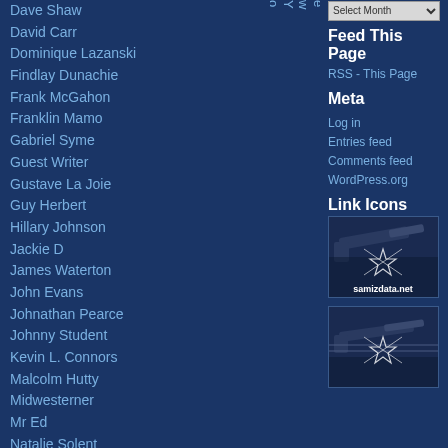Dave Shaw
David Carr
Dominique Lazanski
Findlay Dunachie
Frank McGahon
Franklin Mamo
Gabriel Syme
Guest Writer
Gustave La Joie
Guy Herbert
Hillary Johnson
Jackie D
James Waterton
John Evans
Johnathan Pearce
Johnny Student
Kevin L. Connors
Malcolm Hutty
Midwesterner
Mr Ed
Natalie Solent
Natalija Radic
Niall Kilmartin
Patrick Crozier
Paul Marks
Perry de Havilland
Philip Chaston
e r r y M e t z g e r ( N e w Y o r k , U S A ) . H i s t o
Feed This Page
RSS - This Page
Meta
Log in
Entries feed
Comments feed
WordPress.org
Link Icons
[Figure (photo): Gun/weapon image with samizdata.net star logo and label]
[Figure (photo): Gun/weapon image with samizdata.net star logo (second icon)]